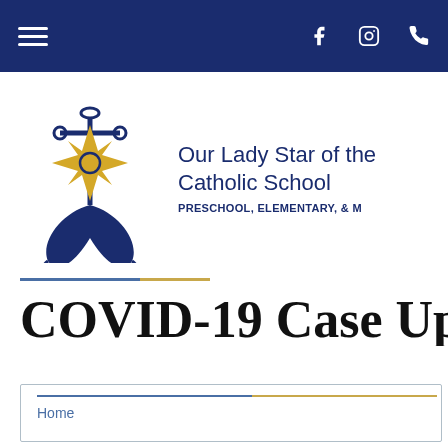Navigation bar with hamburger menu, Facebook, Instagram, and phone icons
[Figure (logo): Our Lady Star of the Sea Catholic School logo: anchor with gold star/compass rose in navy blue and gold]
Our Lady Star of the Catholic School
PRESCHOOL, ELEMENTARY, & M
COVID-19 Case Upc
Home